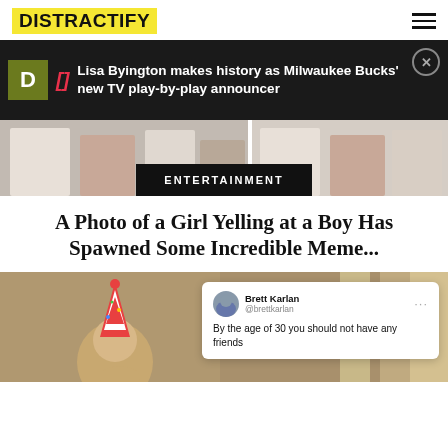DISTRACTIFY
Lisa Byington makes history as Milwaukee Bucks' new TV play-by-play announcer
[Figure (photo): Photo strip showing people in casual clothes, entertainment section banner overlay reading ENTERTAINMENT]
A Photo of a Girl Yelling at a Boy Has Spawned Some Incredible Meme...
[Figure (photo): Photo of a man wearing a birthday party hat, with a tweet overlay from Brett Karlan (@brettkarlan) reading: By the age of 30 you should not have any friends]